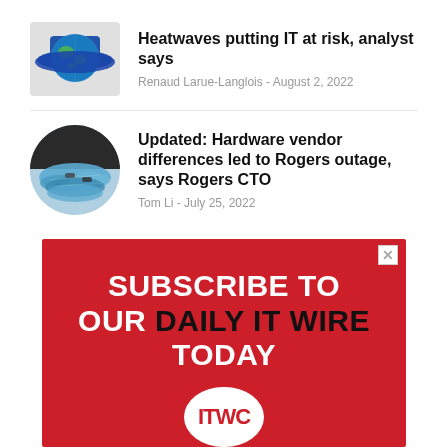[Figure (photo): Globe wearing a wide-brimmed blue hat illustration]
Heatwaves putting IT at risk, analyst says
Renaud Larue-Langlois - August 2, 2022
[Figure (photo): Coiled blue network cables in a circular thumbnail]
Updated: Hardware vendor differences led to Rogers outage, says Rogers CTO
Tom Li - July 25, 2022
[Figure (infographic): Red advertisement banner reading SUBSCRIBE TO OUR DAILY IT WIRE TODAY with ITWC logo circle at bottom]